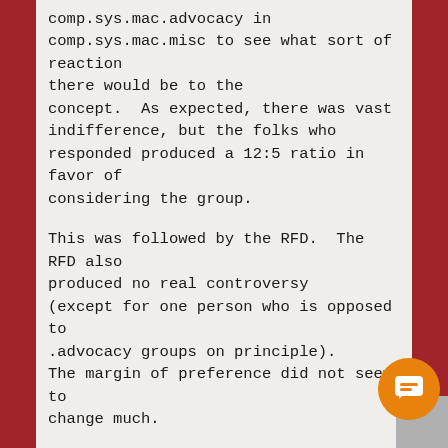comp.sys.mac.advocacy in comp.sys.mac.misc to see what sort of reaction there would be to the concept.  As expected, there was vast indifference, but the folks who responded produced a 12:5 ratio in favor of considering the group.
This was followed by the RFD.  The RFD also produced no real controversy (except for one person who is opposed to .advocacy groups on principle). The margin of preference did not seem to change much.
This is the Call For Votes:
          Please review the charter below and then vote if you feel interested in expressing your opinion on proposed newsgroup.